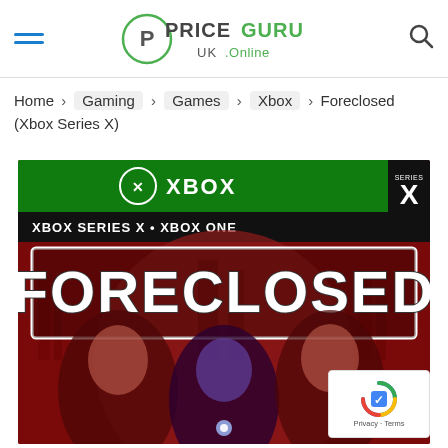PriceGuru UK .Online
Home > Gaming > Games > Xbox > Foreclosed (Xbox Series X)
[Figure (photo): Xbox game cover for Foreclosed (Xbox Series X). Green Xbox banner at top with Xbox logo and text 'XBOX SERIES X • XBOX ONE'. Large distressed white text 'FORECLOSED' on dark border box. Background shows comic-book style art with three characters in red and purple tones against a city skyline. Series X logo badge in top right corner.]
Privacy · Terms